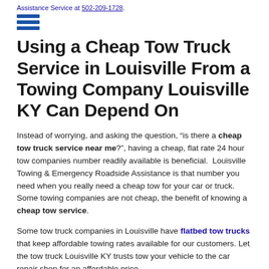Assistance Service at 502-209-1728.
[Figure (other): Hamburger menu icon with three horizontal blue bars]
Using a Cheap Tow Truck Service in Louisville From a Towing Company Louisville KY Can Depend On
Instead of worrying, and asking the question, “is there a cheap tow truck service near me?”, having a cheap, flat rate 24 hour tow companies number readily available is beneficial. Louisville Towing & Emergency Roadside Assistance is that number you need when you really need a cheap tow for your car or truck. Some towing companies are not cheap, the benefit of knowing a cheap tow service.
Some tow truck companies in Louisville have flatbed tow trucks that keep affordable towing rates available for our customers. Let the tow truck Louisville KY trusts tow your vehicle to the car repair shop for an affordable price.